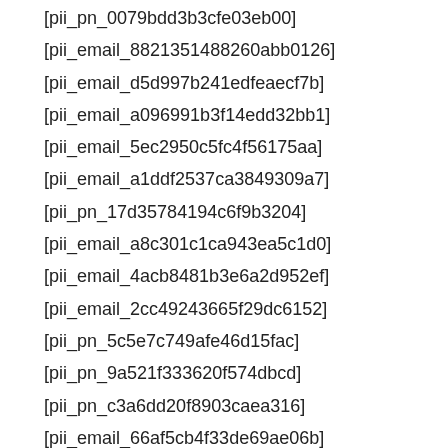[pii_pn_0079bdd3b3cfe03eb00]
[pii_email_8821351488260abb0126]
[pii_email_d5d997b241edfeaecf7b]
[pii_email_a096991b3f14edd32bb1]
[pii_email_5ec2950c5fc4f56175aa]
[pii_email_a1ddf2537ca3849309a7]
[pii_pn_17d35784194c6f9b3204]
[pii_email_a8c301c1ca943ea5c1d0]
[pii_email_4acb8481b3e6a2d952ef]
[pii_email_2cc49243665f29dc6152]
[pii_pn_5c5e7c749afe46d15fac]
[pii_pn_9a521f333620f574dbcd]
[pii_pn_c3a6dd20f8903caea316]
[pii_email_66af5cb4f33de69ae06b]
[pii_email_c001713d39748f7a5b7a]
[pii_email_8c187ae586bffedbce286]